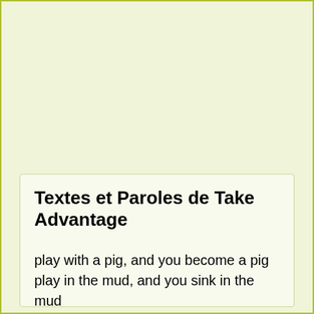Textes et Paroles de Take Advantage
play with a pig, and you become a pig
play in the mud, and you sink in the mud
fall in a hole, and you stay in a hole
you'll be there to look at, at the top of the stairs